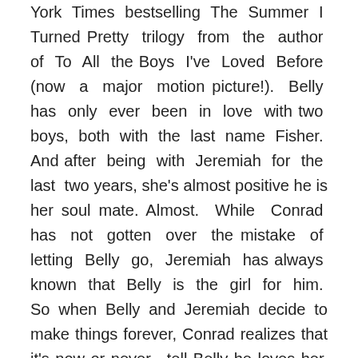York Times bestselling The Summer I Turned Pretty trilogy from the author of To All the Boys I've Loved Before (now a major motion picture!). Belly has only ever been in love with two boys, both with the last name Fisher. And after being with Jeremiah for the last two years, she's almost positive he is her soul mate. Almost. While Conrad has not gotten over the mistake of letting Belly go, Jeremiah has always known that Belly is the girl for him. So when Belly and Jeremiah decide to make things forever, Conrad realizes that it's now or never—tell Belly he loves her, or lose her for good. Belly will have to confront her feelings for Jeremiah and Conrad and face the inevitable: She will have to break one of their hearts. This paperback edition features bonus content,